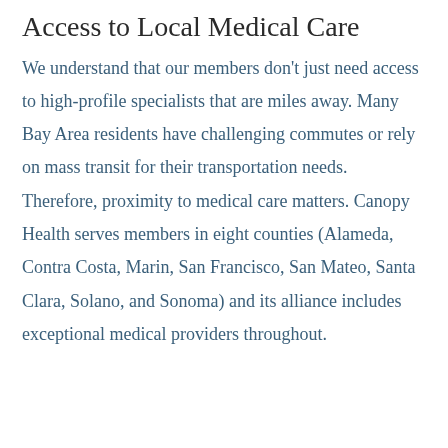Access to Local Medical Care
We understand that our members don't just need access to high-profile specialists that are miles away. Many Bay Area residents have challenging commutes or rely on mass transit for their transportation needs. Therefore, proximity to medical care matters. Canopy Health serves members in eight counties (Alameda, Contra Costa, Marin, San Francisco, San Mateo, Santa Clara, Solano, and Sonoma) and its alliance includes exceptional medical providers throughout.